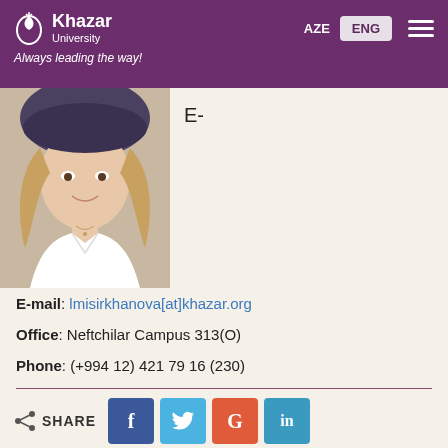Khazar University | AZE | ENG | Always leading the way!
[Figure (photo): Profile photo of a young woman with long hair wearing a white shirt]
E-
E-mail: lmisirkhanova[at]khazar.org
Office: Neftchilar Campus 313(O)
Phone: (+994 12) 421 79 16 (230)
SHARE